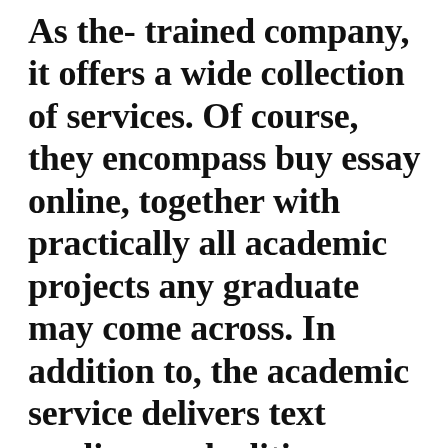As the- trained company, it offers a wide collection of services. Of course, they encompass buy essay online, together with practically all academic projects any graduate may come across. In addition to, the academic service delivers text analisys and editing as independent offerings. The scope of disciplines the- this